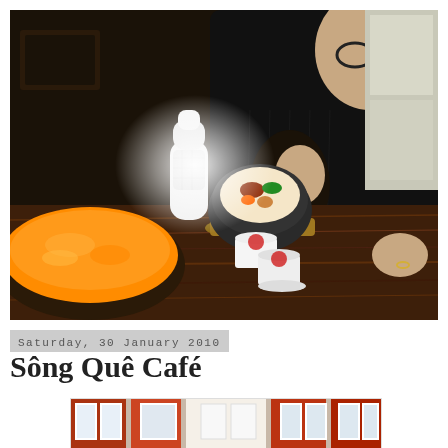[Figure (photo): A person in a black jacket sitting at a restaurant table with Korean food including a stone bowl of bibimbap, a large pot of spicy soup, two small teacups, and a white vase. Bright window light in background.]
Saturday, 30 January 2010
Sông Quê Café
[Figure (photo): Exterior photo of a building/restaurant with brick facade and white-framed windows, partially visible at bottom of page.]